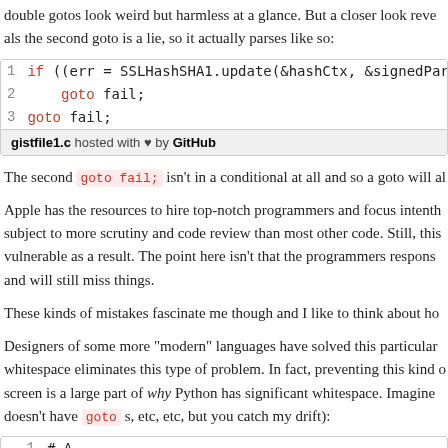double gotos look weird but harmless at a glance. But a closer look reveals the second goto is a lie, so it actually parses like so:
[Figure (screenshot): Code snippet showing 3 lines: line 1: if ((err = SSLHashSHA1.update(&hashCtx, &signedParams)) !, line 2: goto fail;, line 3: goto fail; Footer: gistfile1.c hosted with heart by GitHub]
The second goto fail; isn't in a conditional at all and so a goto will al
Apple has the resources to hire top-notch programmers and focus intentionally subject to more scrutiny and code review than most other code. Still, this vulnerable as a result. The point here isn't that the programmers respons and will still miss things.
These kinds of mistakes fascinate me though and I like to think about ho
Designers of some more "modern" languages have solved this particular whitespace eliminates this type of problem. In fact, preventing this kind o screen is a large part of why Python has significant whitespace. Imagine doesn't have goto s, etc, etc, but you catch my drift):
[Figure (screenshot): Code snippet starting with line 1: # A]